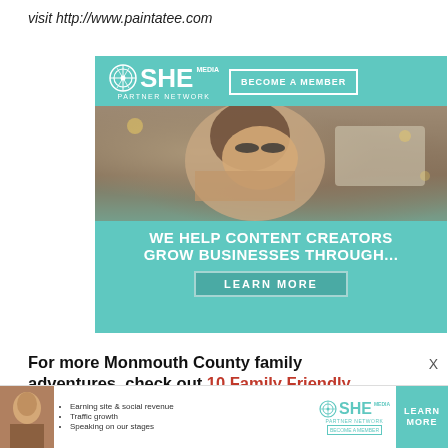visit http://www.paintatee.com
[Figure (screenshot): SHE Media Partner Network advertisement banner. Teal background with logo, 'BECOME A MEMBER' button, photo of smiling woman with glasses using tablet, and text 'WE HELP CONTENT CREATORS GROW BUSINESSES THROUGH...' with a 'LEARN MORE' button.]
For more Monmouth County family adventures, check out 10 Family Friendly Activities in Asbury...
[Figure (screenshot): SHE Media Partner Network bottom advertisement bar with woman photo, bullet points: Earning site & social revenue, Traffic growth, Speaking on our stages, SHE Media logo, LEARN MORE button.]